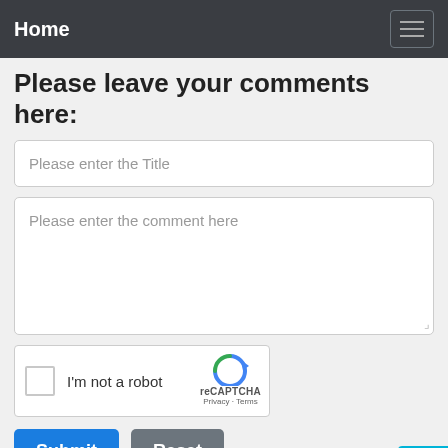Home
Please leave your comments here:
Please enter the Title
Please enter the comment here
[Figure (other): reCAPTCHA widget with checkbox labeled 'I'm not a robot', reCAPTCHA logo, Privacy and Terms links]
Submit
Reset
Related Topics